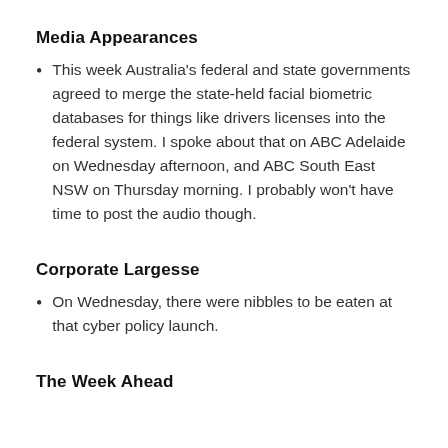Media Appearances
This week Australia's federal and state governments agreed to merge the state-held facial biometric databases for things like drivers licenses into the federal system. I spoke about that on ABC Adelaide on Wednesday afternoon, and ABC South East NSW on Thursday morning. I probably won't have time to post the audio though.
Corporate Largesse
On Wednesday, there were nibbles to be eaten at that cyber policy launch.
The Week Ahead